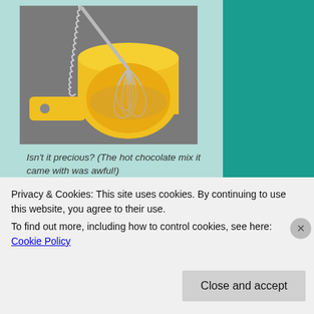[Figure (photo): A yellow plastic measuring cup with a small metal whisk inside, resting on a grey surface.]
Isn't it precious? (The hot chocolate mix it came with was awful!)
Put your jelly liquid in the fridge and wait until it has just begun to set – you don't want a liquid and you don't want a sliceable texture either. Give it 2 to 3
Privacy & Cookies: This site uses cookies. By continuing to use this website, you agree to their use.
To find out more, including how to control cookies, see here: Cookie Policy
Close and accept